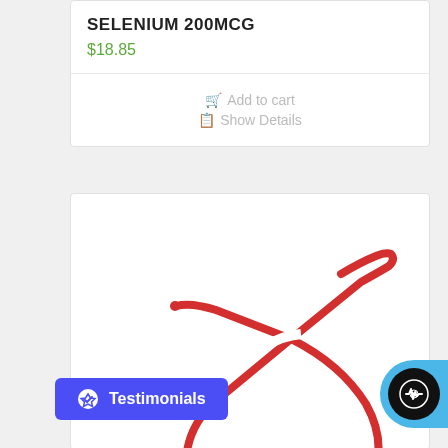SELENIUM 200MCG
$18.85
Add to cart
Show Details
[Figure (photo): Red rubber catheter coiled in a loop shape on a white background]
Testimonials